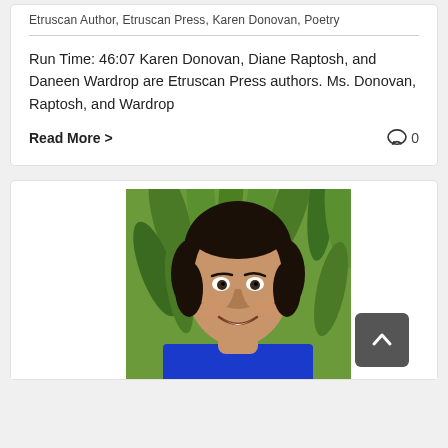Etruscan Author, Etruscan Press, Karen Donovan, Poetry
Run Time: 46:07 Karen Donovan, Diane Raptosh, and Daneen Wardrop are Etruscan Press authors. Ms. Donovan, Raptosh, and Wardrop
Read More >
0
[Figure (photo): Portrait photo of a smiling woman with short dark hair wearing a blue jacket, with green foliage in the background]